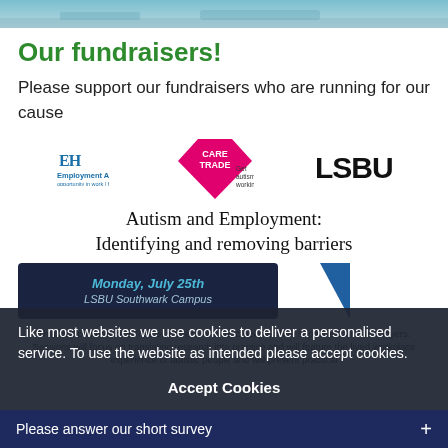[Figure (photo): Top image strip showing outdoor/nature scene in blue tones]
Our fundraisers!
Please support our fundraisers who are running for our cause
[Figure (logo): Three logos side by side: Employment Autism (blue logo with tagline 'opportunity in work | fulfillment in life'), Care Trade 'Get autism working' (pink diamond shape), and LSBU (bold black text)]
Autism and Employment: Identifying and removing barriers
Monday, July 25th LSBU Southwark Campus
This free conference will be of interest to autistic people, their supporters and employers. Sessions will focus on translating research into practice and will feature the lived workplace experience of autistic people and will present practical
Like most websites we use cookies to deliver a personalised service. To use the website as intended please accept cookies.
Accept Cookies
Please answer our short survey